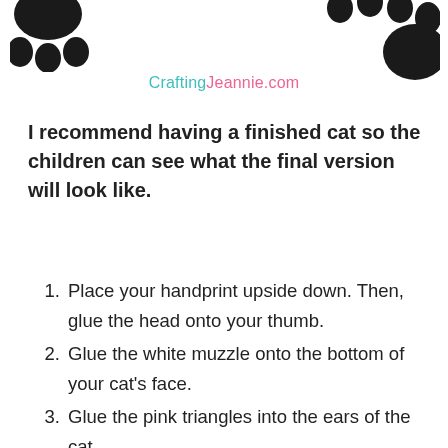[Figure (illustration): Two partial black paw prints visible at top left and top right corners of page]
CraftingJeannie.com
I recommend having a finished cat so the children can see what the final version will look like.
Place your handprint upside down. Then, glue the head onto your thumb.
Glue the white muzzle onto the bottom of your cat's face.
Glue the pink triangles into the ears of the cat.
Next, glue the eyes above the muzzle, make